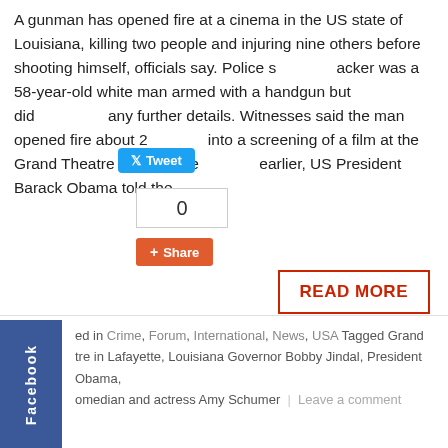A gunman has opened fire at a cinema in the US state of Louisiana, killing two people and injuring nine others before shooting himself, officials say. Police s acker was a 58-year-old white man armed with a handgun but did any further details. Witnesses said the man opened fire about 2 into a screening of a film at the Grand Theatre in Lafayette earlier, US President Barack Obama told the…
[Figure (screenshot): Twitter Tweet button (blue) and Share button (orange/red) with share count of 0]
READ MORE
ed in Crime, Forum, International, News, USA Tagged Grand tre in Lafayette, Louisiana Governor Bobby Jindal, President Obama, omedian and actress Amy Schumer | Leave a comment
President Barrack Obama Due Today In Kenya On His First Presidential Visit
Posted on July 24, 2015
[Figure (photo): Photograph showing dark trees against sky, black and white or dark toned image]